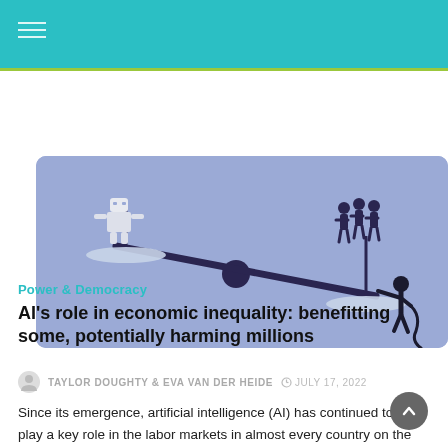[Figure (illustration): A balance scale illustration on a purple/lavender background. On the left (higher) side sits a white robot figure. On the right (lower, heavier) side stand three dark human silhouettes. A person in black stands at the right end of the scale's beam, pulling it down.]
Power & Democracy
AI’s role in economic inequality: benefitting some, potentially harming millions
TAYLOR DOUGHTY & EVA VAN DER HEIDE   ⊙ JULY 17, 2022
Since its emergence, artificial intelligence (AI) has continued to play a key role in the labor markets in almost every country on the planet. New and exciting innovations in technology have been projected to greatly improve labor through the automation of tasks,  with online sources claiming it will also boost the productivity for some